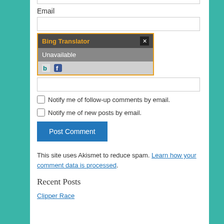Email
[Figure (screenshot): Bing Translator popup with orange border, dark header showing 'Bing Translator' in orange text and an X close button, gray body showing 'Unavailable', and light gray footer with Bing and Facebook icons]
Notify me of follow-up comments by email.
Notify me of new posts by email.
Post Comment
This site uses Akismet to reduce spam. Learn how your comment data is processed.
Recent Posts
Clipper Race